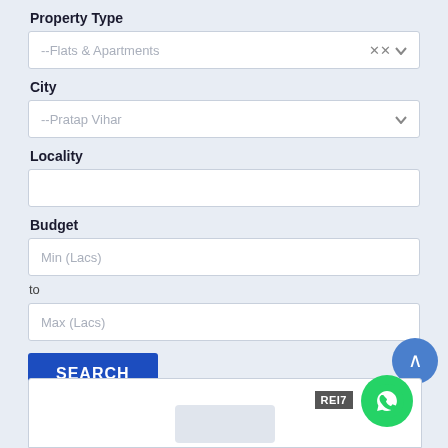Property Type
[Figure (screenshot): Dropdown select box showing '--Flats & Apartments']
City
[Figure (screenshot): Dropdown select box showing '--Pratap Vihar']
Locality
[Figure (screenshot): Empty text input for Locality]
Budget
[Figure (screenshot): Text input with placeholder 'Min (Lacs)']
to
[Figure (screenshot): Text input with placeholder 'Max (Lacs)']
[Figure (screenshot): Blue circular button with up arrow chevron]
[Figure (screenshot): Blue SEARCH button]
[Figure (screenshot): Bottom card with REI7 badge and WhatsApp icon button]